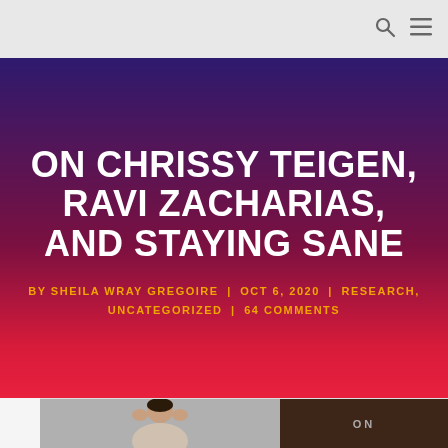ON CHRISSY TEIGEN, RAVI ZACHARIAS, AND STAYING SANE
BY SHEILA WRAY GREGOIRE | OCT 6, 2020 | RESEARCH, UNCATEGORIZED | 64 COMMENTS
[Figure (photo): Composite image: person holding head with hands on the left; book or article cover showing 'ON' text on the right, with dark brown background]